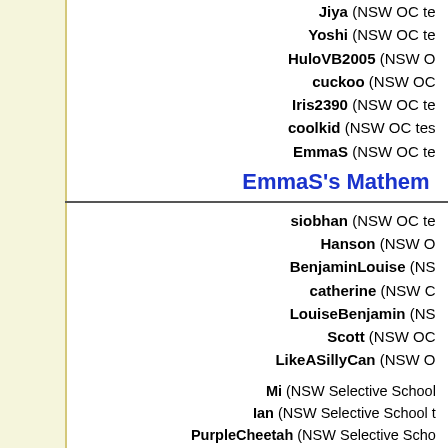Jiya (NSW OC te...
Yoshi (NSW OC te...
HuloVB2005 (NSW O...
cuckoo (NSW OC...
Iris2390 (NSW OC te...
coolkid (NSW OC tes...
EmmaS (NSW OC te...
EmmaS's Mathem...
siobhan (NSW OC te...
Hanson (NSW O...
BenjaminLouise (NS...
catherine (NSW C...
LouiseBenjamin (NS...
Scott (NSW OC...
LikeASillyCan (NSW O...
Mi (NSW Selective School...
Ian (NSW Selective School t...
PurpleCheetah (NSW Selective Scho...
Ethan (NSW Selective Schoo...
Jacyle (NSW Selective Sch...
JMan (NSW Selective Schoo...
Nadee (NSW Selective School test p...
nistan14 (NSW Selective ...